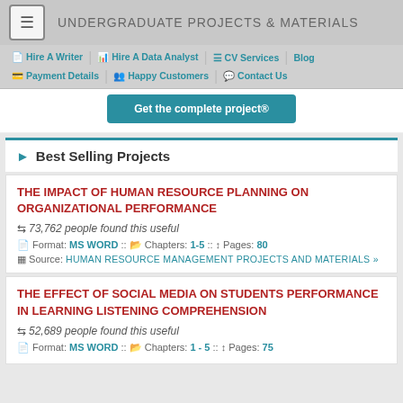UNDERGRADUATE PROJECTS & MATERIALS
Hire A Writer | Hire A Data Analyst | CV Services | Blog | Payment Details | Happy Customers | Contact Us
Get the complete project®
Best Selling Projects
THE IMPACT OF HUMAN RESOURCE PLANNING ON ORGANIZATIONAL PERFORMANCE
73,762 people found this useful
Format: MS WORD :: Chapters: 1-5 :: Pages: 80
Source: HUMAN RESOURCE MANAGEMENT PROJECTS AND MATERIALS »
THE EFFECT OF SOCIAL MEDIA ON STUDENTS PERFORMANCE IN LEARNING LISTENING COMPREHENSION
52,689 people found this useful
Format: MS WORD :: Chapters: 1 - 5 :: Pages: 75